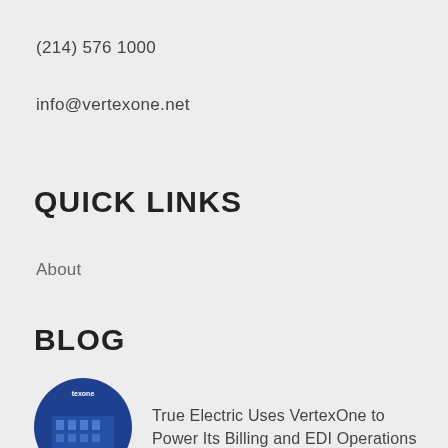(214) 576 1000
info@vertexone.net
QUICK LINKS
About
BLOG
True Electric Uses VertexOne to Power Its Billing and EDI Operations